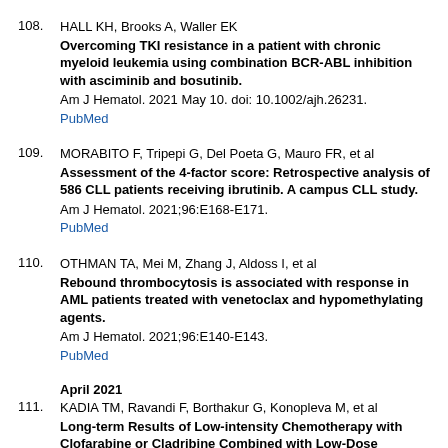108. HALL KH, Brooks A, Waller EK
Overcoming TKI resistance in a patient with chronic myeloid leukemia using combination BCR-ABL inhibition with asciminib and bosutinib.
Am J Hematol. 2021 May 10. doi: 10.1002/ajh.26231.
PubMed
109. MORABITO F, Tripepi G, Del Poeta G, Mauro FR, et al
Assessment of the 4-factor score: Retrospective analysis of 586 CLL patients receiving ibrutinib. A campus CLL study.
Am J Hematol. 2021;96:E168-E171.
PubMed
110. OTHMAN TA, Mei M, Zhang J, Aldoss I, et al
Rebound thrombocytosis is associated with response in AML patients treated with venetoclax and hypomethylating agents.
Am J Hematol. 2021;96:E140-E143.
PubMed
April 2021
111. KADIA TM, Ravandi F, Borthakur G, Konopleva M, et al
Long-term Results of Low-intensity Chemotherapy with Clofarabine or Cladribine Combined with Low-Dose Cytarabine Alternating with Decitabine in Older Patients with Newly Diagnosed Acute Myeloid Leukemia.